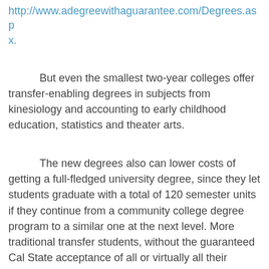http://www.adegreewithaguarantee.com/Degrees.aspx.
But even the smallest two-year colleges offer transfer-enabling degrees in subjects from kinesiology and accounting to early childhood education, statistics and theater arts.
The new degrees also can lower costs of getting a full-fledged university degree, since they let students graduate with a total of 120 semester units if they continue from a community college degree program to a similar one at the next level. More traditional transfer students, without the guaranteed Cal State acceptance of all or virtually all their credits from community college, often must take as many as 40 to 50 additional units after enrolling at a four-year school. This can happen when graduation